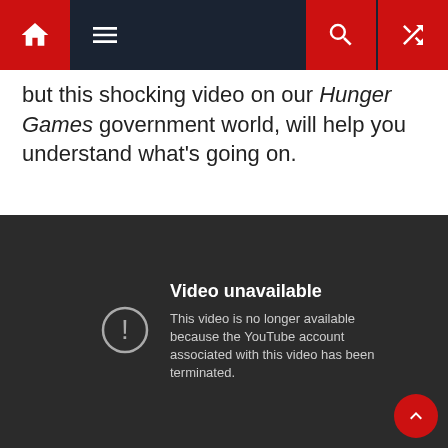Navigation bar with home, menu, search, and shuffle icons
but this shocking video on our Hunger Games government world, will help you understand what's going on.
[Figure (screenshot): YouTube video unavailable screenshot showing error message: 'Video unavailable. This video is no longer available because the YouTube account associated with this video has been terminated.']